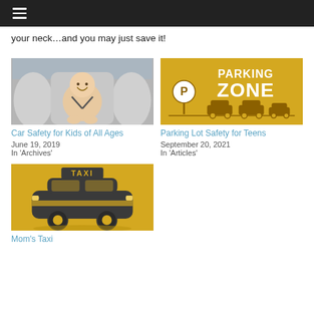Navigation menu (hamburger icon)
your neck…and you may just save it!
[Figure (photo): Baby/toddler in a car seat, smiling, photo]
Car Safety for Kids of All Ages
June 19, 2019
In 'Archives'
[Figure (illustration): Parking Zone sign with cars illustration on yellow background]
Parking Lot Safety for Teens
September 20, 2021
In 'Articles'
[Figure (illustration): Taxi car illustration on yellow background]
Mom's Taxi